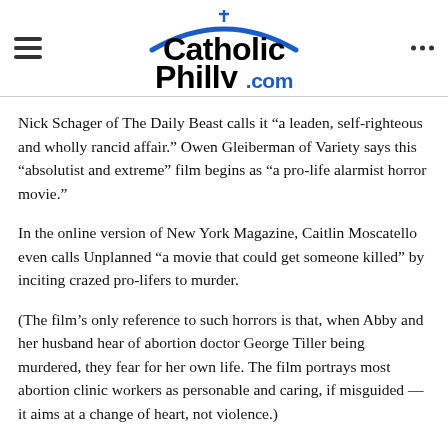CatholicPhilly.com
Nick Schager of The Daily Beast calls it “a leaden, self-righteous and wholly rancid affair.” Owen Gleiberman of Variety says this “absolutist and extreme” film begins as “a pro-life alarmist horror movie.”
In the online version of New York Magazine, Caitlin Moscatello even calls Unplanned “a movie that could get someone killed” by inciting crazed pro-lifers to murder.
(The film’s only reference to such horrors is that, when Abby and her husband hear of abortion doctor George Tiller being murdered, they fear for her own life. The film portrays most abortion clinic workers as personable and caring, if misguided — it aims at a change of heart, not violence.)